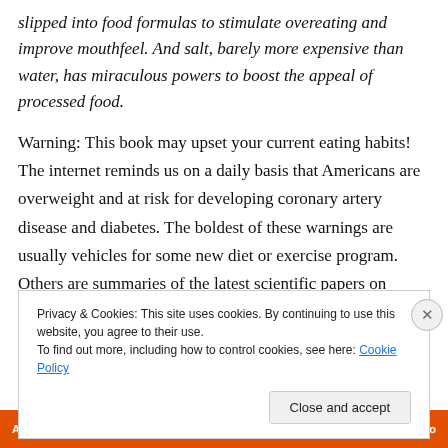slipped into food formulas to stimulate overeating and improve mouthfeel. And salt, barely more expensive than water, has miraculous powers to boost the appeal of processed food.
Warning: This book may upset your current eating habits! The internet reminds us on a daily basis that Americans are overweight and at risk for developing coronary artery disease and diabetes. The boldest of these warnings are usually vehicles for some new diet or exercise program. Others are summaries of the latest scientific papers on eating habits and health outcomes.
Privacy & Cookies: This site uses cookies. By continuing to use this website, you agree to their use.
To find out more, including how to control cookies, see here: Cookie Policy